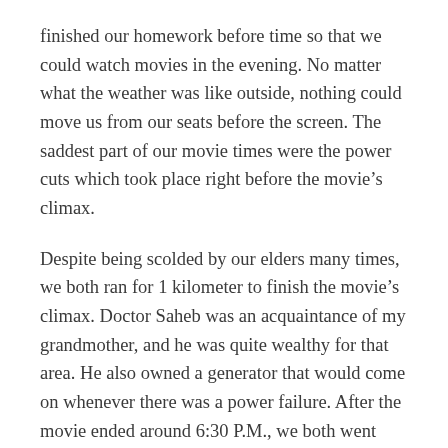finished our homework before time so that we could watch movies in the evening. No matter what the weather was like outside, nothing could move us from our seats before the screen. The saddest part of our movie times were the power cuts which took place right before the movie's climax.
Despite being scolded by our elders many times, we both ran for 1 kilometer to finish the movie's climax. Doctor Saheb was an acquaintance of my grandmother, and he was quite wealthy for that area. He also owned a generator that would come on whenever there was a power failure. After the movie ended around 6:30 P.M., we both went home to enjoy a Sunday evening in a fantasy world away from reality. However, after we reached home, our Bua (Father's sister) would beat and scold us. Occasionally, she would close the front door